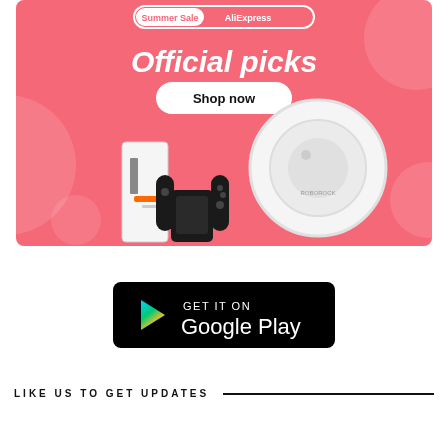[Figure (illustration): AliExpress Summer Sale promotional banner with pink background showing 'Official picks' heading, 'Shop now' button, and product images including a robot vacuum, gaming console, and Nintendo Switch controller]
[Figure (logo): GET IT ON Google Play badge - black rounded rectangle with Google Play triangle logo and text]
LIKE US TO GET UPDATES